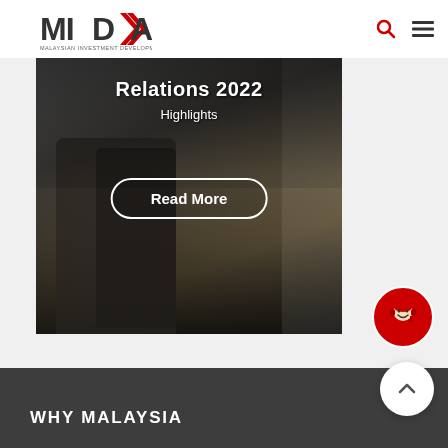MIDA - Malaysian Investment Development Authority
[Figure (photo): Conference or investment relations event photo showing a person in a suit at a MIDA-branded event backdrop, with chairs visible. Overlay text reads 'Relations 2022 Highlights' with a 'Read More' button.]
Relations 2022
Highlights
Read More
WHY MALAYSIA